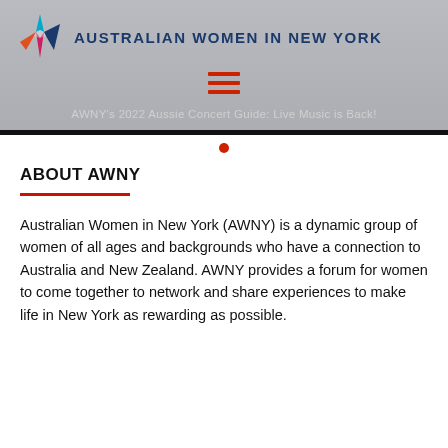AUSTRALIAN WOMEN IN NEW YORK
[Figure (logo): AWNY star logo with teal, orange, pink and dark blue triangular spikes]
AWNY's 2022 Aussie Concert Guide: Live Music is Back!
ABOUT AWNY
Australian Women in New York (AWNY) is a dynamic group of women of all ages and backgrounds who have a connection to Australia and New Zealand. AWNY provides a forum for women to come together to network and share experiences to make life in New York as rewarding as possible.